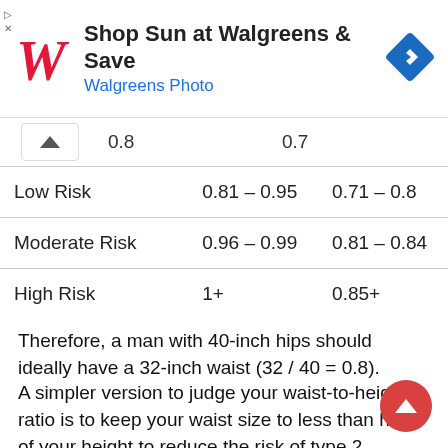[Figure (other): Walgreens advertisement banner with logo, 'Shop Sun at Walgreens & Save', 'Walgreens Photo' subtitle, and a blue navigation diamond icon]
|  | 0.8 | 0.7 |
| --- | --- | --- |
| Low Risk | 0.81 – 0.95 | 0.71 – 0.8 |
| Moderate Risk | 0.96 – 0.99 | 0.81 – 0.84 |
| High Risk | 1+ | 0.85+ |
Therefore, a man with 40-inch hips should ideally have a 32-inch waist (32 / 40 = 0.8).
A simpler version to judge your waist-to-height ratio is to keep your waist size to less than half of your height to reduce the risk of type 2 diabetes. Therefore, a 6-foot tall man (72 inches) should have a maximum waist measurement of 36 inches.